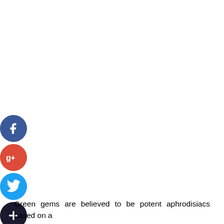[Figure (infographic): Vertical stack of four social media share buttons as colored circles on the left side: Facebook (dark blue, 'f'), Google+ (red, 'g+'), Twitter (light blue, bird icon), and Add/Share (dark navy, '+' icon).]
Green gems are believed to be potent aphrodisiacs based on a